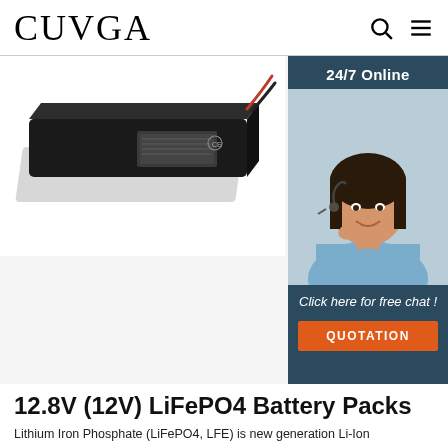CUVGA
[Figure (photo): Black rectangular LiFePO4 battery pack with red and black wires, shown on white background]
[Figure (photo): 24/7 Online customer support widget showing a woman wearing a headset smiling, with 'Click here for free chat!' text and an orange QUOTATION button]
12.8V (12V) LiFePO4 Battery Packs
Lithium Iron Phosphate (LiFePO4, LFE) is new generation Li-Ion rechargeable battery for high power applications, such as EV car, Power Tool and RC hobby. LFP cells feature with high discharging current, non explosive, long cycle life ( >2000@0.2C rate, IEC Standard), but its energy density is lower than normal Li-Ion cell (Li-Co) (higher NiMH...